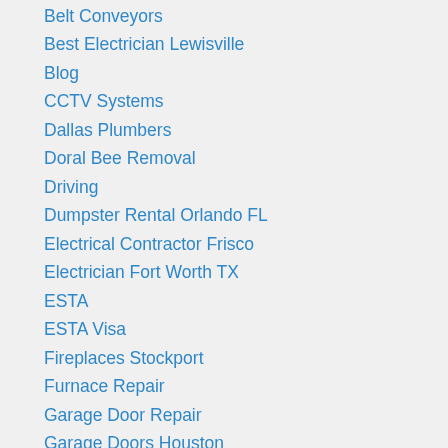Belt Conveyors
Best Electrician Lewisville
Blog
CCTV Systems
Dallas Plumbers
Doral Bee Removal
Driving
Dumpster Rental Orlando FL
Electrical Contractor Frisco
Electrician Fort Worth TX
ESTA
ESTA Visa
Fireplaces Stockport
Furnace Repair
Garage Door Repair
Garage Doors Houston
Home Improvement
Houses Houston
Industrial Blenders